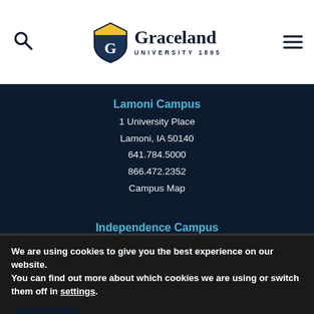[Figure (logo): Graceland University logo with shield icon and text 'Graceland UNIVERSITY 1895']
Lamoni Campus
1 University Place
Lamoni, IA 50140
641.784.5000
866.472.2352
Campus Map
Independence Campus
1401 W. Truman Road
Independence, MO 64050-3434
816.833.0524
800.833.0524
We are using cookies to give you the best experience on our website.
You can find out more about which cookies we are using or switch them off in settings.
Accept